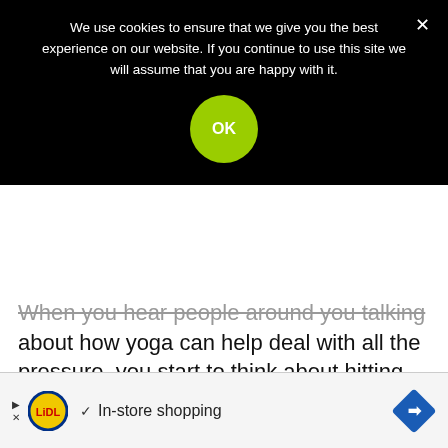We use cookies to ensure that we give you the best experience on our website. If you continue to use this site we will assume that you are happy with it.
OK
When you hear people around you talking about how yoga can help deal with all the pressure, you start to think about hitting the yoga mat. But somehow something holds you back.
[Figure (screenshot): Advertisement banner for Lidl featuring a play button icon, Lidl logo (yellow circle with blue border and red text), a checkmark, the text 'In-store shopping', and a blue diamond-shaped arrow icon on the right.]